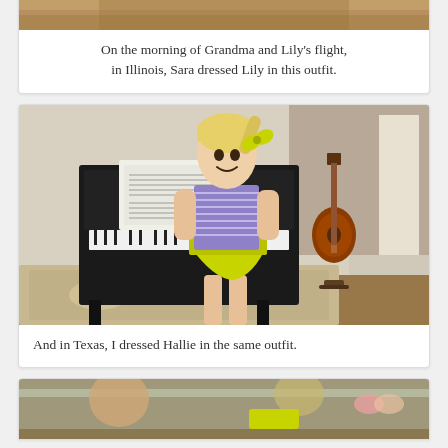[Figure (photo): Partial photo at top of page, cropped — appears to show a wooden surface or table, brown tones]
On the morning of Grandma and Lily's flight, in Illinois, Sara dressed Lily in this outfit.
[Figure (photo): A young blonde girl smiling, wearing a purple and white striped tank top and yellow-green skirt, standing in a living room with a black upright piano and an orange electric guitar leaning against a brick fireplace]
And in Texas, I dressed Hallie in the same outfit.
[Figure (photo): Partial photo at bottom of page, cropped — appears to show children at a table]